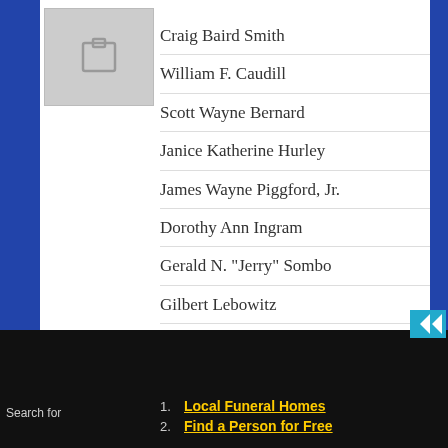[Figure (other): Gray placeholder image box with a small icon]
Craig Baird Smith
William F. Caudill
Scott Wayne Bernard
Janice Katherine Hurley
James Wayne Piggford, Jr.
Dorothy Ann Ingram
Gerald N. "Jerry" Sombo
Gilbert Lebowitz
Audrey Ann Orr
Robert J. Sher...
Search for
1. Local Funeral Homes
2. Find a Person for Free